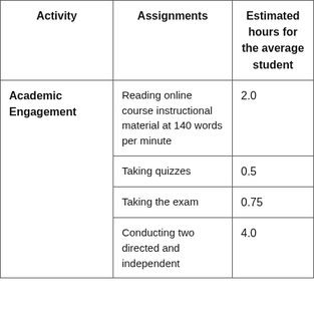| Activity | Assignments | Estimated hours for the average student |
| --- | --- | --- |
| Academic Engagement | Reading online course instructional material at 140 words per minute | 2.0 |
|  | Taking quizzes | 0.5 |
|  | Taking the exam | 0.75 |
|  | Conducting two directed and independent | 4.0 |